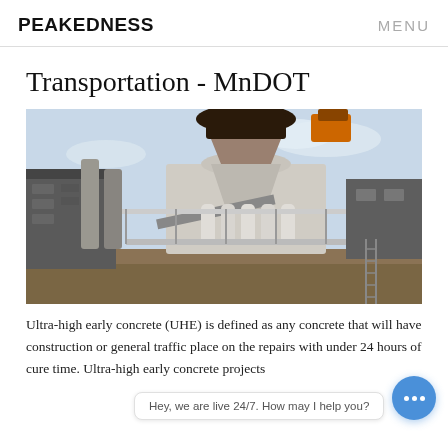PEAKEDNESS   MENU
Transportation - MnDOT
[Figure (photo): Industrial concrete plant / mixing machine with large mechanical components, conveyors, and silos, photographed outdoors.]
Ultra-high early concrete (UHE) is defined as any concrete that will have construction or general traffic place on the repairs with under 24 hours of cure time. Ultra-high early concrete projects are in addition to a concrete testing project...
Hey, we are live 24/7. How may I help you?